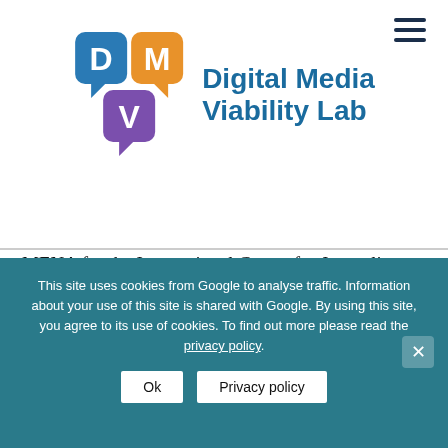[Figure (logo): Digital Media Viability Lab logo with D (blue speech bubble), M (orange speech bubble), V (purple speech bubble) icons and text 'Digital Media Viability Lab' in blue]
MENA for the International Center for Journalists emphasized that the relation between social media and mainstream media has not yet been on good terms and she talked about their work at ICFG on the program aiming at bridging this gap through a cooperation with Google.
This site uses cookies from Google to analyse traffic. Information about your use of this site is shared with Google. By using this site, you agree to its use of cookies. To find out more please read the privacy policy.